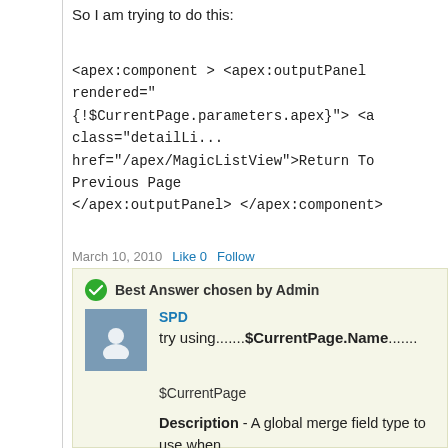So I am trying to do this:
<apex:component > <apex:outputPanel rendered="{!$CurrentPage.parameters.apex}"> <a class="detailLi..." href="/apex/MagicListView">Return To Previous Page</a> </apex:outputPanel> </apex:component>
March 10, 2010   Like 0   Follow
Best Answer chosen by Admin
SPD
try using.......$CurrentPage.Name.......
$CurrentPage
Description  - A global merge field type to use when current Visualforce page.
Use this expression in a Visualforce page to access the parameters and